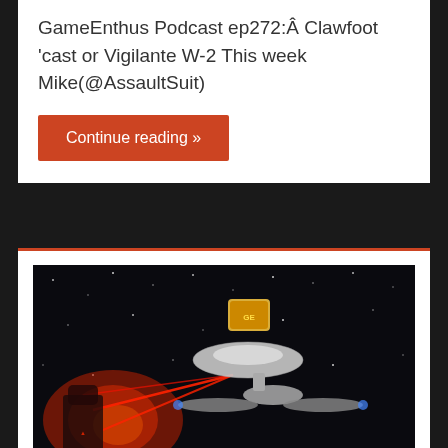GameEnthus Podcast ep272:Â Clawfoot 'cast or Vigilante W-2 This week Mike(@AssaultSuit)
Continue reading »
[Figure (photo): Space scene showing a starship (Enterprise-like) in space with red laser beams, dark star field background, and a small GameEnthus logo badge overlaid]
GAMEENTHUS PODCAST EP270: STAR TREK WARS OR PURPLE MONKEY DISHWASHER